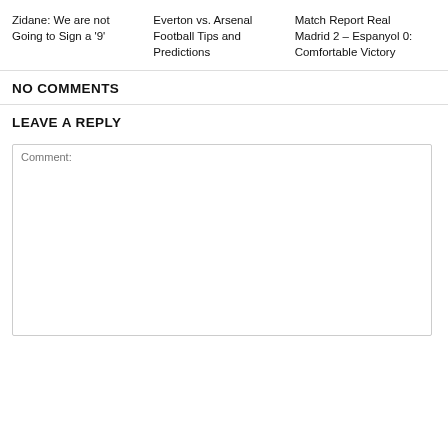Zidane: We are not Going to Sign a '9'
Everton vs. Arsenal Football Tips and Predictions
Match Report Real Madrid 2 – Espanyol 0: Comfortable Victory
NO COMMENTS
LEAVE A REPLY
Comment: